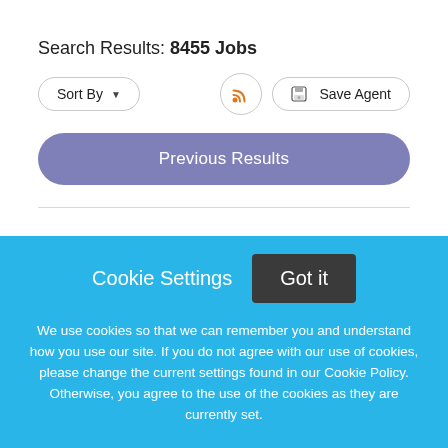Search Results: 8455 Jobs
Sort By ▾
[Figure (other): RSS feed icon button (orange wifi-like symbol in circular border)]
🖫 Save Agent
Previous Results
Cookie Settings
Got it
We use cookies so that we can remember you and understand how you use our site. If you do not agree with our use of cookies, please change the current settings found in our Cookie Policy. Otherwise, you agree to the use of the cookies as they are currently set.